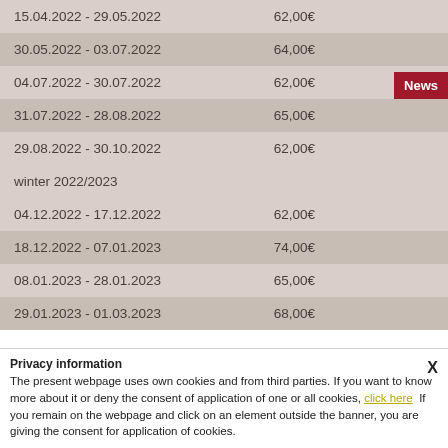| Date Range | Price |
| --- | --- |
| 15.04.2022 - 29.05.2022 | 62,00€ |
| 30.05.2022 - 03.07.2022 | 64,00€ |
| 04.07.2022 - 30.07.2022 | 62,00€ |
| 31.07.2022 - 28.08.2022 | 65,00€ |
| 29.08.2022 - 30.10.2022 | 62,00€ |
| winter 2022/2023 |  |
| 04.12.2022 - 17.12.2022 | 62,00€ |
| 18.12.2022 - 07.01.2023 | 74,00€ |
| 08.01.2023 - 28.01.2023 | 65,00€ |
| 29.01.2023 - 01.03.2023 | 68,00€ |
Privacy information
The present webpage uses own cookies and from third parties. If you want to know more about it or deny the consent of application of one or all cookies, click here If you remain on the webpage and click on an element outside the banner, you are giving the consent for application of cookies.